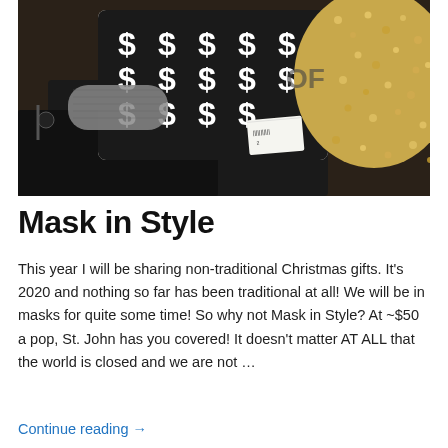[Figure (photo): Photo of fashion face masks laid flat including a black and white dollar sign patterned mask, a grey mesh/knit mask, and a gold sequined hat-style item, on a dark background with a price tag visible.]
Mask in Style
This year I will be sharing non-traditional Christmas gifts. It's 2020 and nothing so far has been traditional at all! We will be in masks for quite some time! So why not Mask in Style? At ~$50 a pop, St. John has you covered! It doesn't matter AT ALL that the world is closed and we are not …
Continue reading →